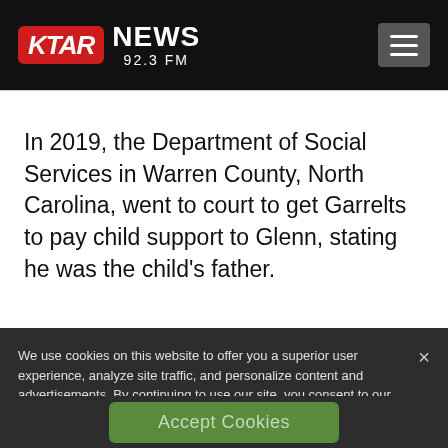[Figure (logo): KTAR News 92.3 FM logo with hamburger menu button on black header bar]
In 2019, the Department of Social Services in Warren County, North Carolina, went to court to get Garrelts to pay child support to Glenn, stating he was the child’s father.
We use cookies on this website to offer you a superior user experience, analyze site traffic, and personalize content and advertisements. By continuing to use our site, you consent to our use of cookies. Please visit our Privacy Policy for more information.
Accept Cookies